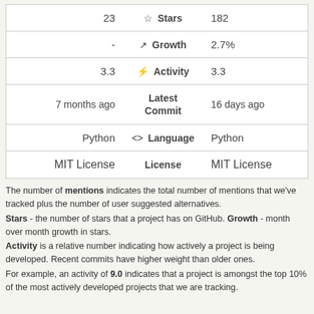| (left) | Label | (right) |
| --- | --- | --- |
| 23 | ☆ Stars | 182 |
| - | ↗ Growth | 2.7% |
| 3.3 | ⚡ Activity | 3.3 |
| 7 months ago | Latest Commit | 16 days ago |
| Python | <> Language | Python |
| MIT License | License | MIT License |
The number of mentions indicates the total number of mentions that we've tracked plus the number of user suggested alternatives. Stars - the number of stars that a project has on GitHub. Growth - month over month growth in stars. Activity is a relative number indicating how actively a project is being developed. Recent commits have higher weight than older ones. For example, an activity of 9.0 indicates that a project is amongst the top 10% of the most actively developed projects that we are tracking.